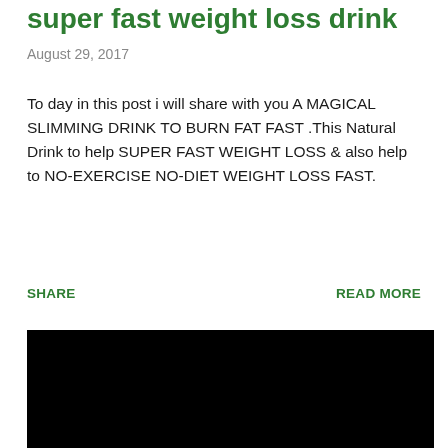super fast weight loss drink
August 29, 2017
To day in this post i will share with you A MAGICAL SLIMMING DRINK TO BURN FAT FAST .This Natural Drink to help SUPER FAST WEIGHT LOSS & also help to NO-EXERCISE NO-DIET WEIGHT LOSS FAST.
SHARE
READ MORE
[Figure (photo): Black rectangle, likely a video embed placeholder]